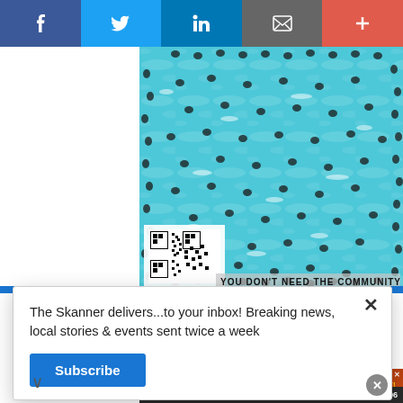[Figure (screenshot): Social media share buttons bar: Facebook (dark blue), Twitter (blue), LinkedIn (blue), Email/share (gray), Plus/more (red-orange)]
[Figure (photo): Aerial photo of a crowded swimming pool filled with people, turquoise water visible between swimmers. QR code overlay in bottom-left corner. Partial text 'YOU DON'T NEED THE COMMUNITY' visible at bottom.]
The Skanner delivers...to your inbox! Breaking news, local stories & events sent twice a week
[Figure (screenshot): Subscribe button in blue]
[Figure (infographic): Sedona Apartments advertisement: apartment building photo on left, Sedona Apartments logo center, address 14402 Pavilion Point, Houston, TX 77083, www.apartments.com, 281-568-4596, Spanish text '¡RENTA TU APARTAMENTO!', 'Y MÚDATE HOY!', '¡VEN Y VISÍTANOS!', '1 Y 2 RECAMARAS']